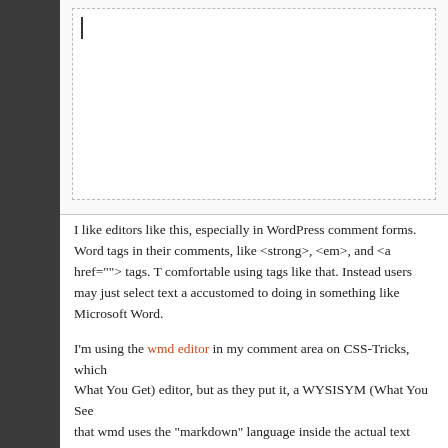[Figure (screenshot): A text editor box with a dashed border and a blinking cursor, on a light gray background.]
I like editors like this, especially in WordPress comment forms. WordPress allows users to use certain tags in their comments, like <strong>, <em>, and <a href=""> tags. The problem is that many users aren't comfortable using tags like that. Instead users may just select text and apply formatting, as they are accustomed to doing in something like Microsoft Word.
I'm using the wmd editor in my comment area on CSS-Tricks, which is not a WYSIWYG (What You See is What You Get) editor, but as they put it, a WYSISYM (What You See Is What You Mean) editor. What that means is that wmd uses the "markdown" language inside the actual text area. So for example, you would emphasize by surrounding a word with asterisks (*) to emphasis it. Behind the scenes, these conventions get converted to actual <em> tags. There are similar conventions for bold text, links, and pretty much everything I would need on CSS-Tricks!
So the reason I chose the wmd-editor is:
Very easy to install. One line of code to link to self-hosted script
Very easy to customize. Get rid of those buttons I didn't need.
Provides live comment preview, so people can see what their c
The wmd-editor isn't the most popular editor on the block. There are